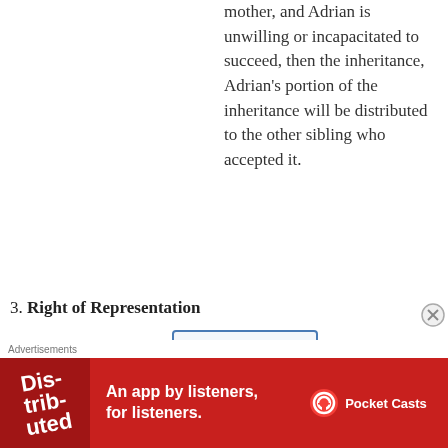mother, and Adrian is unwilling or incapacitated to succeed, then the inheritance, Adrian's portion of the inheritance will be distributed to the other sibling who accepted it.
3. Right of Representation
[Figure (organizational-chart): Genealogy diagram box showing: † (Great Great Grandfather) (Lolo sa Talampakan)]